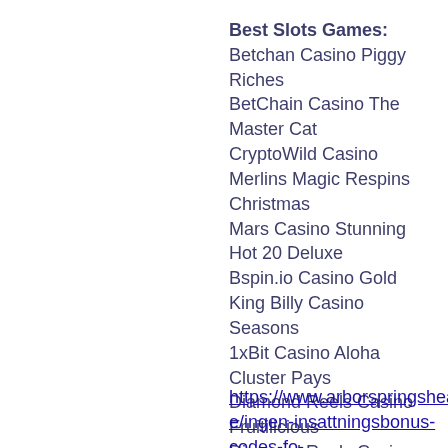Best Slots Games:
Betchan Casino Piggy Riches
BetChain Casino The Master Cat
CryptoWild Casino Merlins Magic Respins Christmas
Mars Casino Stunning Hot 20 Deluxe
Bspin.io Casino Gold
King Billy Casino Seasons
1xBit Casino Aloha Cluster Pays
Diamond Reels Casino Fruitilicious
Diamond Reels Casino USSR Grosery
BetChain Casino Immortal Romance
Bitcoin Penguin Casino Aura of Jupiter moorhuhn Shooter
Mars Casino Bullseye
Diamond Reels Casino Elementals
BitcoinCasino.us Jetsetter
BitcoinCasino.us Psychedelic Sixties
https://www.arborspringshealth.com/profile/ingen-insattningsbonus-codes-fo-